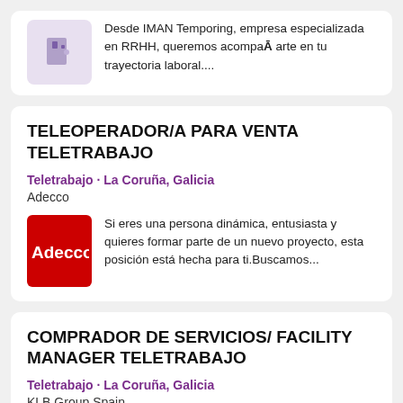Desde IMAN Temporing, empresa especializada en RRHH, queremos acompañarte en tu trayectoria laboral....
TELEOPERADOR/A PARA VENTA TELETRABAJO
Teletrabajo · La Coruña, Galicia
Adecco
Si eres una persona dinámica, entusiasta y quieres formar parte de un nuevo proyecto, esta posición está hecha para ti.Buscamos...
COMPRADOR DE SERVICIOS/ FACILITY MANAGER TELETRABAJO
Teletrabajo · La Coruña, Galicia
KLB Group Spain
KLB Group es una empresa dinámica con una